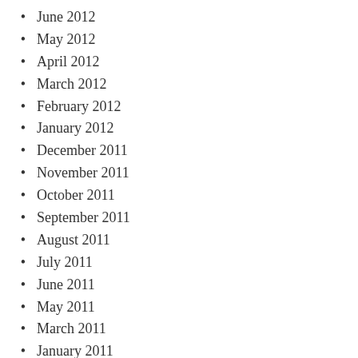June 2012
May 2012
April 2012
March 2012
February 2012
January 2012
December 2011
November 2011
October 2011
September 2011
August 2011
July 2011
June 2011
May 2011
March 2011
January 2011